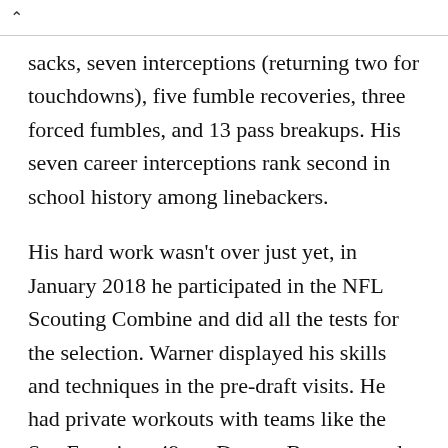sacks, seven interceptions (returning two for touchdowns), five fumble recoveries, three forced fumbles, and 13 pass breakups. His seven career interceptions rank second in school history among linebackers.
His hard work wasn't over just yet, in January 2018 he participated in the NFL Scouting Combine and did all the tests for the selection. Warner displayed his skills and techniques in the pre-draft visits. He had private workouts with teams like the San Francisco 49ers, Denver Broncos, and Buffalo Bills but in April 2018 he was drafted by the San Francisco 49ers and was picked 70th overall in the